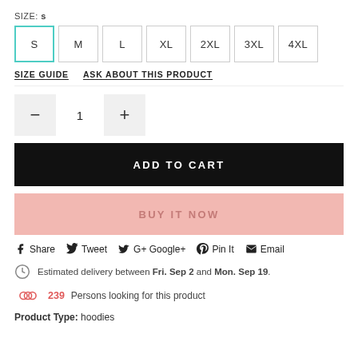SIZE: s
S  M  L  XL  2XL  3XL  4XL
SIZE GUIDE   ASK ABOUT THIS PRODUCT
— 1 +
ADD TO CART
BUY IT NOW
Share  Tweet  Google+  Pin It  Email
Estimated delivery between Fri. Sep 2 and Mon. Sep 19.
239 Persons looking for this product
Product Type: hoodies